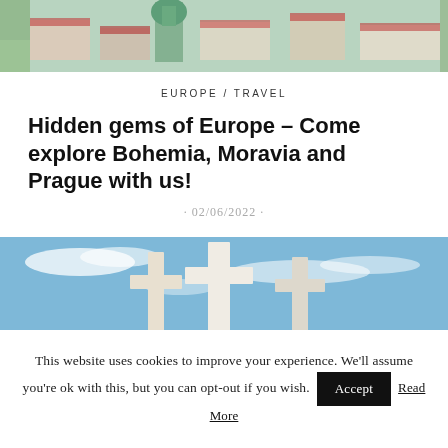[Figure (photo): Aerial view of a European town with a green-domed church tower and colorful buildings with red roofs]
EUROPE / TRAVEL
Hidden gems of Europe – Come explore Bohemia, Moravia and Prague with us!
· 02/06/2022 ·
[Figure (photo): Three large white stone crosses against a blue sky with wispy clouds]
This website uses cookies to improve your experience. We'll assume you're ok with this, but you can opt-out if you wish. Accept Read More